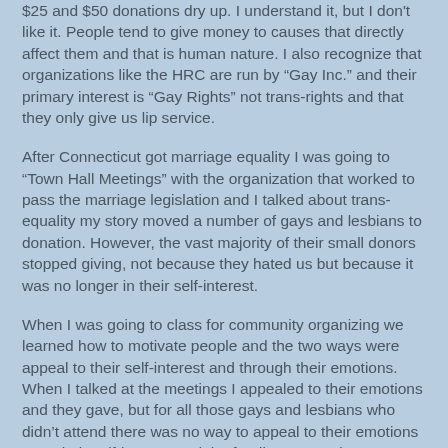$25 and $50 donations dry up. I understand it, but I don't like it. People tend to give money to causes that directly affect them and that is human nature. I also recognize that organizations like the HRC are run by “Gay Inc.” and their primary interest is “Gay Rights” not trans-rights and that they only give us lip service.
After Connecticut got marriage equality I was going to “Town Hall Meetings” with the organization that worked to pass the marriage legislation and I talked about trans-equality my story moved a number of gays and lesbians to donation. However, the vast majority of their small donors stopped giving, not because they hated us but because it was no longer in their self-interest.
When I was going to class for community organizing we learned how to motivate people and the two ways were appeal to their self-interest and through their emotions. When I talked at the meetings I appealed to their emotions and they gave, but for all those gays and lesbians who didn’t attend there was no way to appeal to their emotions or to their self-interest and the funding stopped.